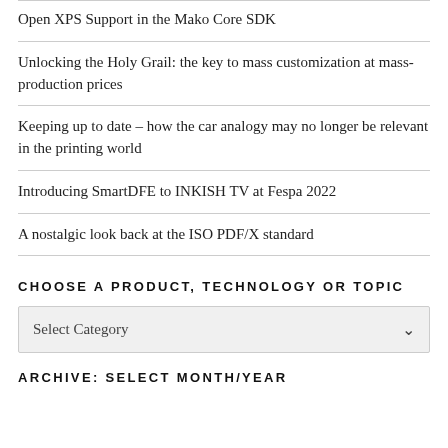Open XPS Support in the Mako Core SDK
Unlocking the Holy Grail: the key to mass customization at mass-production prices
Keeping up to date – how the car analogy may no longer be relevant in the printing world
Introducing SmartDFE to INKISH TV at Fespa 2022
A nostalgic look back at the ISO PDF/X standard
CHOOSE A PRODUCT, TECHNOLOGY OR TOPIC
Select Category
ARCHIVE: SELECT MONTH/YEAR